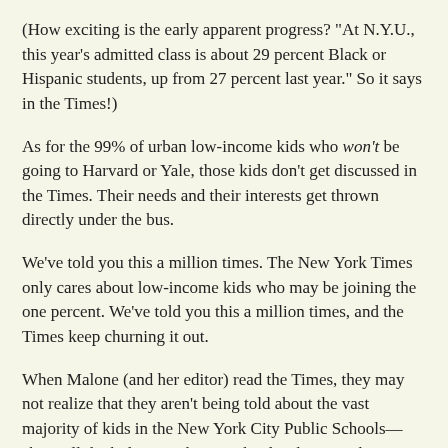(How exciting is the early apparent progress? "At N.Y.U., this year's admitted class is about 29 percent Black or Hispanic students, up from 27 percent last year." So it says in the Times!)
As for the 99% of urban low-income kids who won't be going to Harvard or Yale, those kids don't get discussed in the Times. Their needs and their interests get thrown directly under the bus.
We've told you this a million times. The New York Times only cares about low-income kids who may be joining the one percent. We've told you this a million times, and the Times keep churning it out.
When Malone (and her editor) read the Times, they may not realize that they aren't being told about the vast majority of kids in the New York City Public Schools—about all the kids in Gotham's schools who won't be going to Stuyvesant High, then moving on to Yale.
Malone may not realize that she isn't being told about the size of those achievement gaps. And no! No superintendent is going to arrive on the scene armed with some way to "fix them."